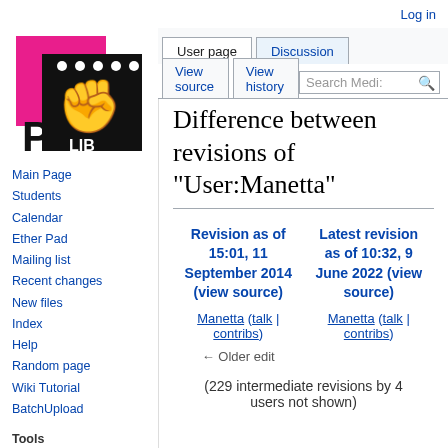Log in
[Figure (logo): PirateLib logo: pink square with black square containing white dots and fist, with letter P and LIB text]
Main Page
Students
Calendar
Ether Pad
Mailing list
Recent changes
New files
Index
Help
Random page
Wiki Tutorial
BatchUpload
Tools
Difference between revisions of "User:Manetta"
| Revision as of 15:01, 11 September 2014 (view source) | Latest revision as of 10:32, 9 June 2022 (view source) |
| --- | --- |
| Manetta (talk | contribs) | Manetta (talk | contribs) |
| ← Older edit |  |
(229 intermediate revisions by 4 users not shown)